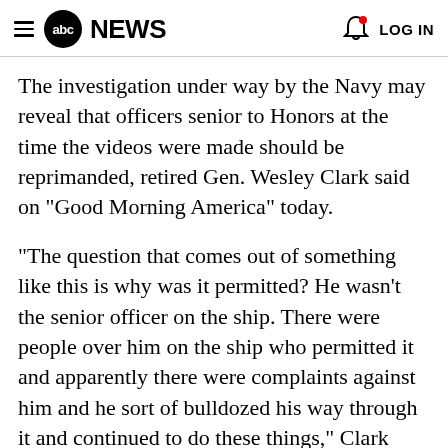abc NEWS   LOG IN
The investigation under way by the Navy may reveal that officers senior to Honors at the time the videos were made should be reprimanded, retired Gen. Wesley Clark said on "Good Morning America" today.
"The question that comes out of something like this is why was it permitted? He wasn't the senior officer on the ship. There were people over him on the ship who permitted it and apparently there were complaints against him and he sort of bulldozed his way through it and continued to do these things," Clark said.
Top Navy officers have relieved Honors from